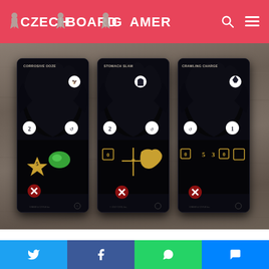Czech Board Gamer
[Figure (photo): Three dark fantasy board game cards displayed on a wooden surface: Corrosive Ooze, Stomach Slam, and Crawling Charge. Each card features dark creature artwork with various game icons and numbers.]
Unfortunately, with the miniature, which is also the main drawing point of this box, comes the main problem. After